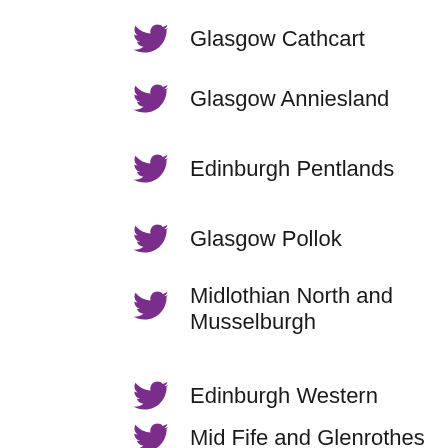Glasgow Cathcart
Glasgow Anniesland
Edinburgh Pentlands
Glasgow Pollok
Midlothian North and Musselburgh
Edinburgh Western
Mid Fife and Glenrothes